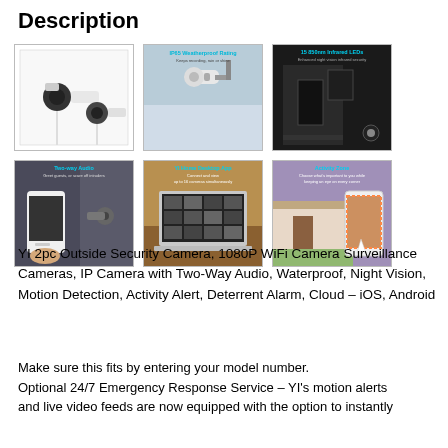Description
[Figure (photo): Six product images of YI outdoor security cameras arranged in two rows of three. Row 1: white security cameras product shot, IP65 weatherproof rating feature image, 15 850nm infrared LED night vision feature image. Row 2: Two-way audio feature image with smartphone, YI Home Desktop App feature image with laptop, Activity Zone feature image with smartphone.]
YI 2pc Outside Security Camera, 1080P WiFi Camera Surveillance Cameras, IP Camera with Two-Way Audio, Waterproof, Night Vision, Motion Detection, Activity Alert, Deterrent Alarm, Cloud – iOS, Android
Make sure this fits by entering your model number.
Optional 24/7 Emergency Response Service – YI's motion alerts and live video feeds are now equipped with the option to instantly